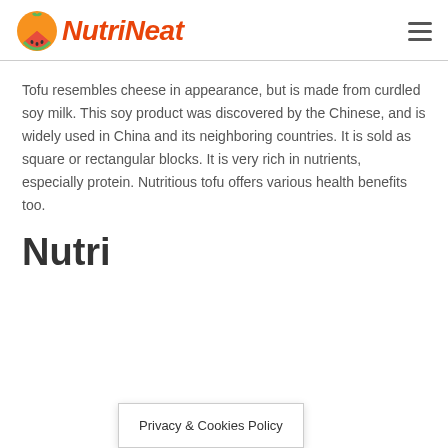NutriNeat
Tofu resembles cheese in appearance, but is made from curdled soy milk. This soy product was discovered by the Chinese, and is widely used in China and its neighboring countries. It is sold as square or rectangular blocks. It is very rich in nutrients, especially protein. Nutritious tofu offers various health benefits too.
Nutri
Privacy & Cookies Policy